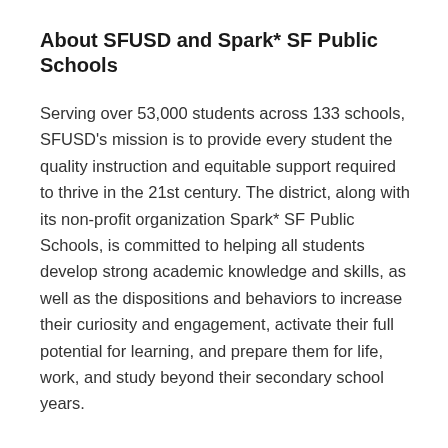About SFUSD and Spark* SF Public Schools
Serving over 53,000 students across 133 schools, SFUSD's mission is to provide every student the quality instruction and equitable support required to thrive in the 21st century. The district, along with its non-profit organization Spark* SF Public Schools, is committed to helping all students develop strong academic knowledge and skills, as well as the dispositions and behaviors to increase their curiosity and engagement, activate their full potential for learning, and prepare them for life, work, and study beyond their secondary school years.